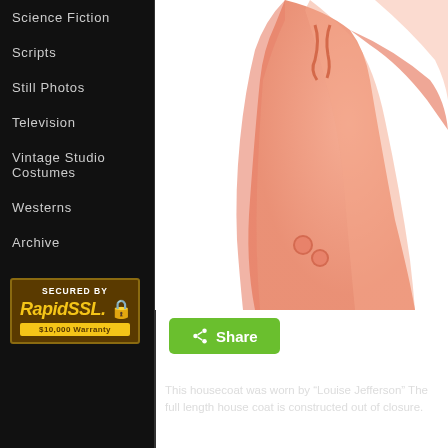Science Fiction
Scripts
Still Photos
Television
Vintage Studio Costumes
Westerns
Archive
[Figure (logo): Secured by RapidSSL $10,000 Warranty badge]
[Figure (photo): Peach/salmon colored full length housecoat/kaftan with tie closure and pom-pom embellishments]
Share
This housecoat was worn by “Louise Jefferson” The full length house coat is constructed out of closure.